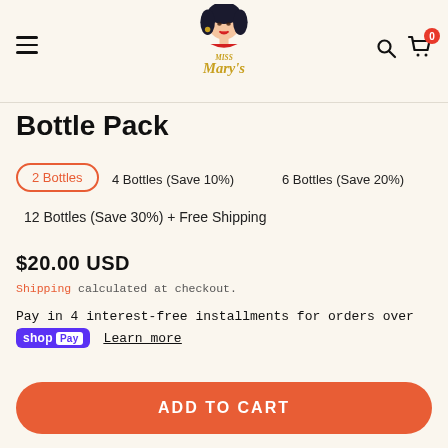[Figure (logo): Miss Mary's logo with illustrated woman and gold script text]
Bottle Pack
2 Bottles (selected, highlighted with orange pill border)
4 Bottles (Save 10%)
6 Bottles (Save 20%)
12 Bottles (Save 30%) + Free Shipping
$20.00 USD
Shipping calculated at checkout.
Pay in 4 interest-free installments for orders over $50 with shop Pay Learn more
ADD TO CART